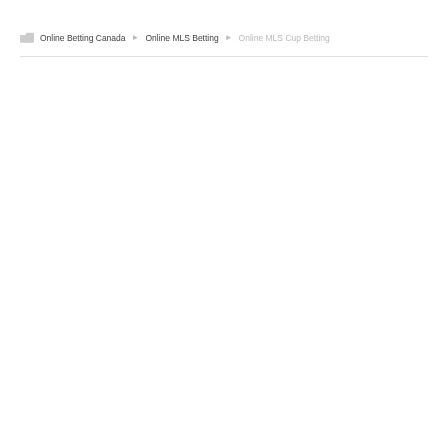Online Betting Canada ▶ Online MLS Betting ▶ Online MLS Cup Betting